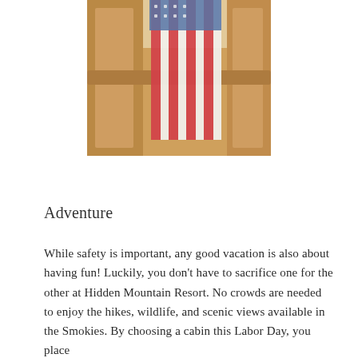[Figure (photo): A red, white and blue striped fabric or towel draped over a wooden railing or banister, likely at a cabin or resort. Background shows wooden architecture and bright light.]
Adventure
While safety is important, any good vacation is also about having fun! Luckily, you don't have to sacrifice one for the other at Hidden Mountain Resort. No crowds are needed to enjoy the hikes, wildlife, and scenic views available in the Smokies. By choosing a cabin this Labor Day, you place